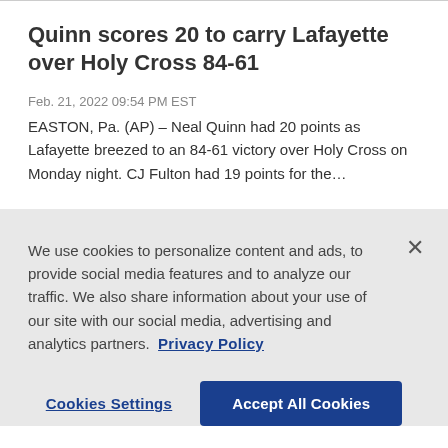Quinn scores 20 to carry Lafayette over Holy Cross 84-61
Feb. 21, 2022 09:54 PM EST
EASTON, Pa. (AP) – Neal Quinn had 20 points as Lafayette breezed to an 84-61 victory over Holy Cross on Monday night. CJ Fulton had 19 points for the…
We use cookies to personalize content and ads, to provide social media features and to analyze our traffic. We also share information about your use of our site with our social media, advertising and analytics partners. Privacy Policy
Cookies Settings
Accept All Cookies